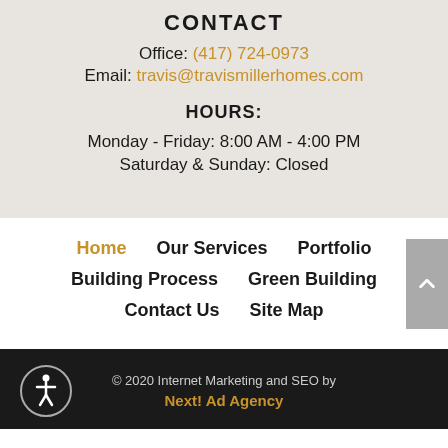CONTACT
Office: (417) 724-0973
Email: travis@travismillerhomes.com
HOURS:
Monday - Friday: 8:00 AM - 4:00 PM
Saturday & Sunday: Closed
Home
Our Services
Portfolio
Building Process
Green Building
Contact Us
Site Map
© 2020 Internet Marketing and SEO by Next! Ad Agency